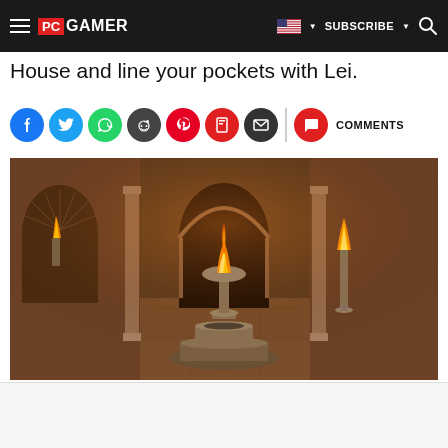PC GAMER | SUBSCRIBE
House and line your pockets with Lei.
[Figure (screenshot): Gaming screenshot showing a dark ancient stone chamber with torches burning around a central octagonal fountain or altar, arched doorways visible in the background, lit by warm orange firelight.]
COMMENTS